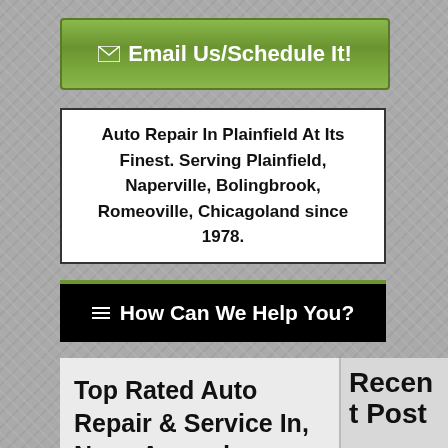[Figure (screenshot): Green gradient button with envelope icon and text 'Email Us/Schedule It!']
Auto Repair In Plainfield At Its Finest. Serving Plainfield, Naperville, Bolingbrook, Romeoville, Chicagoland since 1978.
≡ How Can We Help You?
Top Rated Auto Repair & Service In, Near, Around Plainfield, IL
Recent Post